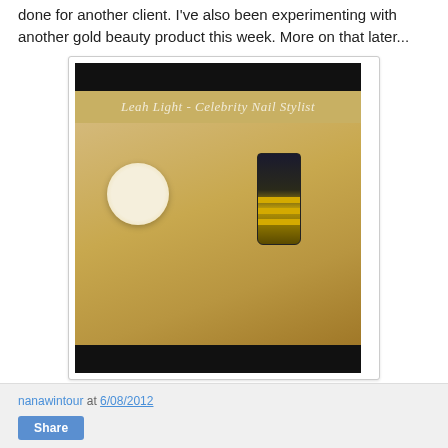done for another client. I've also been experimenting with another gold beauty product this week. More on that later...
[Figure (photo): Two hands with gold nail polish; a daisy flower ring on the left hand and a MAC nail polish bottle held in the right hand. Watermark reads: Leah Light - Celebrity Nail Stylist.]
My latest nails as done by Leah Light.
nanawintour at 6/08/2012
Share